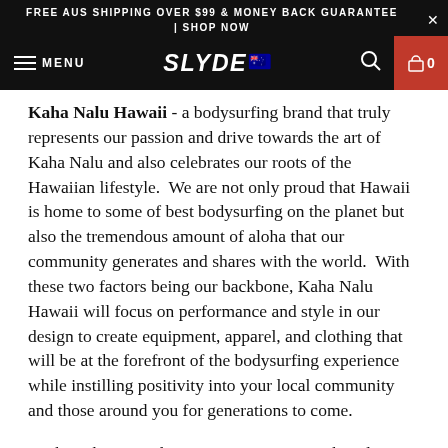FREE AUS SHIPPING OVER $99 & MONEY BACK GUARANTEE | SHOP NOW
[Figure (screenshot): Navigation bar with hamburger menu, SLYDE logo with Australian flag, search icon, and red cart button showing 0]
Kaha Nalu Hawaii - a bodysurfing brand that truly represents our passion and drive towards the art of Kaha Nalu and also celebrates our roots of the Hawaiian lifestyle. We are not only proud that Hawaii is home to some of best bodysurfing on the planet but also the tremendous amount of aloha that our community generates and shares with the world. With these two factors being our backbone, Kaha Nalu Hawaii will focus on performance and style in our design to create equipment, apparel, and clothing that will be at the forefront of the bodysurfing experience while instilling positivity into your local community and those around you for generations to come.
We have been conducting extensive research and design and on all the products currently on the market and know that we can improve upon them. The majority of equipment available worldwide is either geared towards surfing and snorkeling,